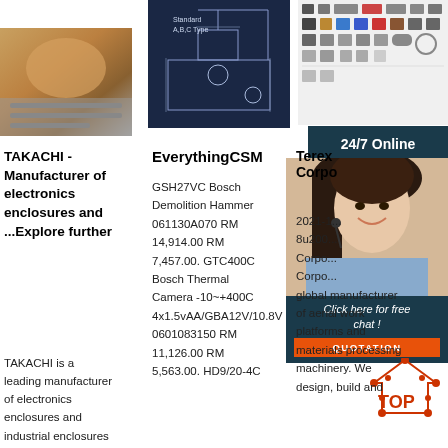[Figure (photo): Photo of electronics or packaging materials, warm brown tones]
[Figure (engineering-diagram): Blueprint/schematic of Standard A,B,C Type industrial machine on dark blue background]
[Figure (photo): Product catalog grid showing various electronic components and connectors]
[Figure (photo): Customer service representative woman with headset, smiling, with 24/7 Online banner and chat overlay]
TAKACHI - Manufacturer of electronics enclosures and ...Explore further
TAKACHI is a leading manufacturer of electronics enclosures and industrial enclosures for a variety of
EverythingCSM
GSH27VC Bosch Demolition Hammer 061130A070 RM 14,914.00 RM 7,457.00. GTC400C Bosch Thermal Camera -10~+400C 4x1.5vAA/GBA12V/10.8V 0601083150 RM 11,126.00 RM 5,563.00. HD9/20-4C
Terex Corporation
2021-1... 8u200... Corporation... Corporation... global manufacturer of aerial work platforms and materials processing machinery. We design, build and